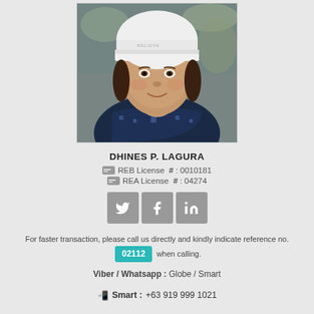[Figure (photo): Portrait photo of Dhines P. Lagura wearing a white winter beanie hat and a dark navy patterned scarf/sweater, smiling, outdoors winter background]
DHINES P. LAGURA
REB License # : 0010181
REA License # : 04274
[Figure (infographic): Social media icons: Twitter, Facebook, LinkedIn — grey square buttons with white icons]
For faster transaction, please call us directly and kindly indicate reference no. 02112 when calling.
Viber / Whatsapp : Globe / Smart
Smart : +63 919 999 1021
Globe : +63 917 ...